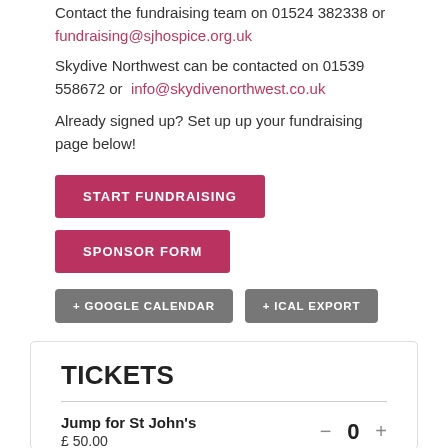Contact the fundraising team on 01524 382338 or fundraising@sjhospice.org.uk
Skydive Northwest can be contacted on 01539 558672 or info@skydivenorthwest.co.uk
Already signed up? Set up up your fundraising page below!
START FUNDRAISING
SPONSOR FORM
+ GOOGLE CALENDAR
+ ICAL EXPORT
TICKETS
Jump for St John's
£ 50.00